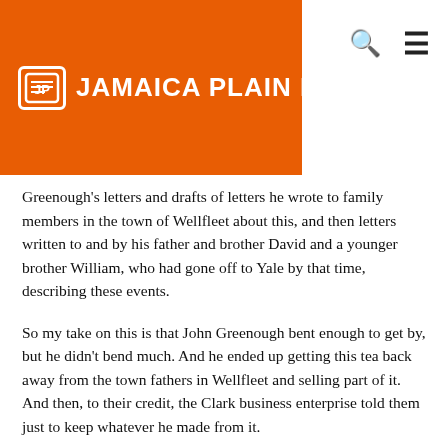JAMAICA PLAIN NEWS
Greenough's letters and drafts of letters he wrote to family members in the town of Wellfleet about this, and then letters written to and by his father and brother David and a younger brother William, who had gone off to Yale by that time, describing these events.
So my take on this is that John Greenough bent enough to get by, but he didn't bend much. And he ended up getting this tea back away from the town fathers in Wellfleet and selling part of it. And then, to their credit, the Clark business enterprise told them just to keep whatever he made from it.
And there would end our story as this little interesting event, and there's one other point I'd love to make, which brings us back to this house.